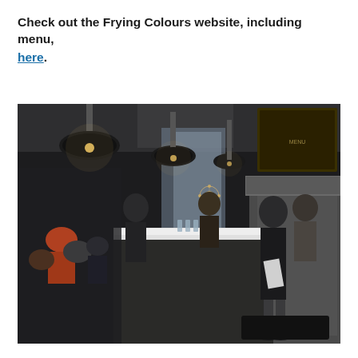Check out the Frying Colours website, including menu, here.
[Figure (photo): Interior photograph of Frying Colours restaurant. Shows a busy restaurant/café with dark pendant lamps hanging from the ceiling, a long counter/bar in the center, customers dining on the left side, kitchen staff working in the background, and a woman in black clothing standing at the right side near the open kitchen area. The atmosphere is dim and moody.]